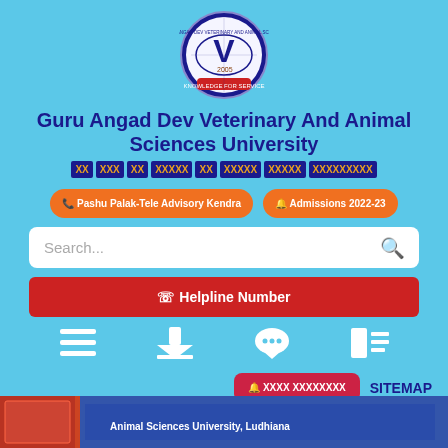[Figure (logo): Guru Angad Dev Veterinary And Animal Sciences University circular logo with a V emblem and globe design]
Guru Angad Dev Veterinary And Animal Sciences University
XX XXX XX XXXXX XX XXXXX XXXXX XXXXXXXXX
Pashu Palak-Tele Advisory Kendra
Admissions 2022-23
Search...
Helpline Number
SITEMAP
[Figure (photo): Bottom campus photo showing University building with sign reading Animal Sciences University, Ludhiana]